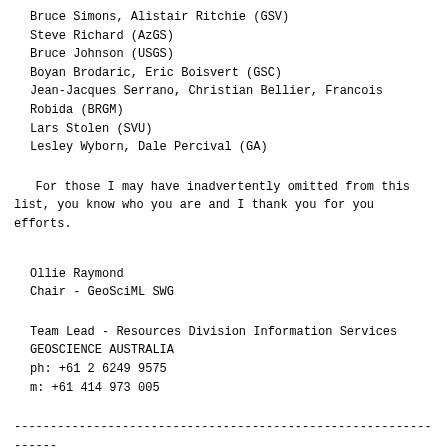Bruce Simons, Alistair Ritchie (GSV)
Steve Richard (AzGS)
Bruce Johnson (USGS)
Boyan Brodaric, Eric Boisvert (GSC)
Jean-Jacques Serrano, Christian Bellier, Francois Robida (BRGM)
Lars Stolen (SVU)
Lesley Wyborn, Dale Percival (GA)
For those I may have inadvertently omitted from this list, you know who you are and I thank you for you efforts.
Ollie Raymond
Chair - GeoSciML SWG
Team Lead - Resources Division Information Services
GEOSCIENCE AUSTRALIA
ph: +61 2 6249 9575
m: +61 414 973 005
----------------------------------------------------------------
Begin forwarded message: